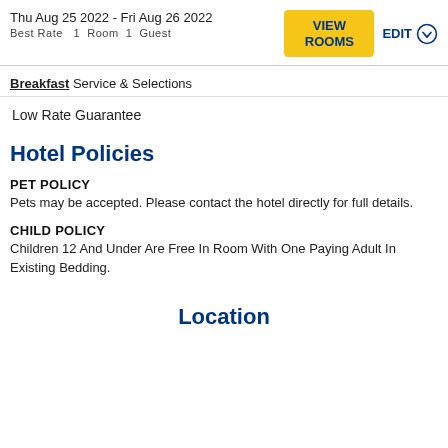Thu Aug 25 2022 - Fri Aug 26 2022
Best Rate   1  Room  1  Guest
Breakfast Service & Selections
Low Rate Guarantee
Hotel Policies
PET POLICY
Pets may be accepted. Please contact the hotel directly for full details.
CHILD POLICY
Children 12 And Under Are Free In Room With One Paying Adult In Existing Bedding.
Location